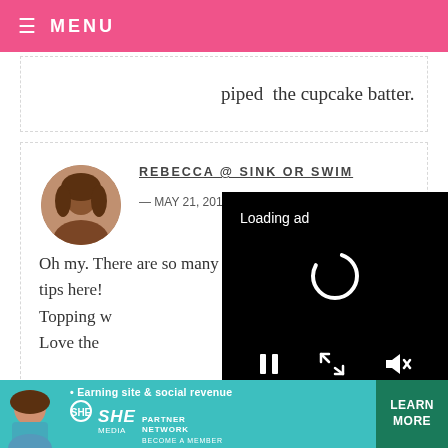☰ MENU
piped  the cupcake batter.
REBECCA @ SINK OR SWIM — MAY 21, 2012 @ 6:43 AM  REPLY
Oh my. There are so many awesome tips here! Topping w... Love the...
[Figure (screenshot): Video ad overlay showing black background with 'Loading ad' text, a spinning loading indicator, and video controls (pause, expand, mute) at the bottom]
SALLY — MAY 21, 2012 @ 6:38 AM  REPLY
[Figure (infographic): SHE Media Partner Network banner ad: teal background with woman photo, bullet point 'Earning site & social revenue', SHE logo, PARTNER NETWORK, BECOME A MEMBER text, and green LEARN MORE button]